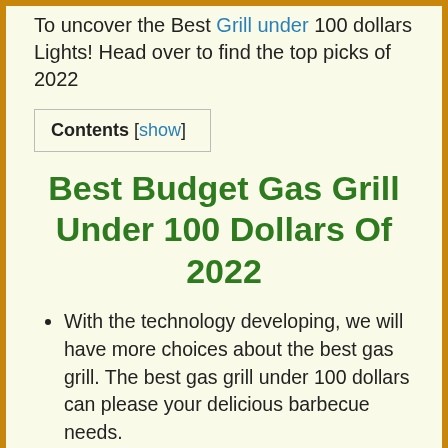To uncover the Best Grill under 100 dollars Lights! Head over to find the top picks of 2022
Contents [show]
Best Budget Gas Grill Under 100 Dollars Of 2022
With the technology developing, we will have more choices about the best gas grill. The best gas grill under 100 dollars can please your delicious barbecue needs.